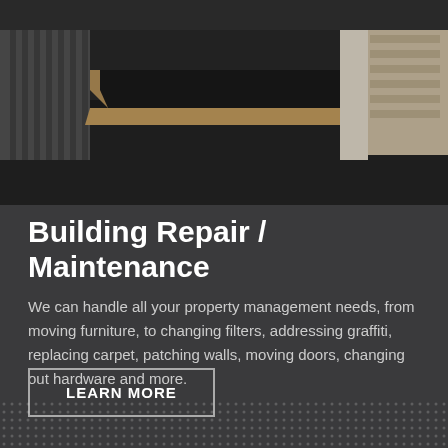[Figure (photo): Interior photo of a building ramp with dark flooring, wooden edging, and striped wall panels in the background with stairs visible.]
Building Repair / Maintenance
We can handle all your property management needs, from moving furniture, to changing filters, addressing graffiti, replacing carpet, patching walls, moving doors, changing out hardware and more.
LEARN MORE